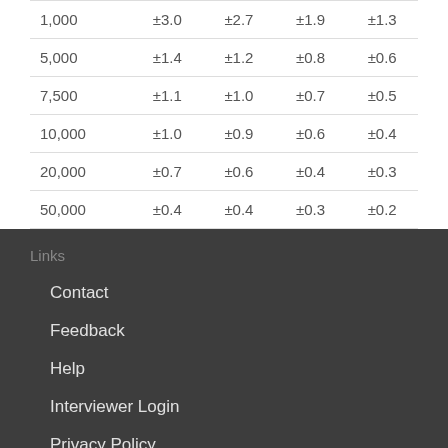| 1,000 | ±3.0 | ±2.7 | ±1.9 | ±1.3 |
| 5,000 | ±1.4 | ±1.2 | ±0.8 | ±0.6 |
| 7,500 | ±1.1 | ±1.0 | ±0.7 | ±0.5 |
| 10,000 | ±1.0 | ±0.9 | ±0.6 | ±0.4 |
| 20,000 | ±0.7 | ±0.6 | ±0.4 | ±0.3 |
| 50,000 | ±0.4 | ±0.4 | ±0.3 | ±0.2 |
Links
Contact
Feedback
Help
Interviewer Login
Privacy Policy